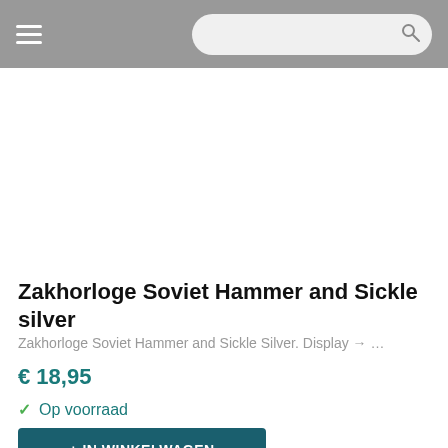[Figure (photo): Product image area (blank/white) for Zakhorloge Soviet Hammer and Sickle Silver]
Zakhorloge Soviet Hammer and Sickle silver
Zakhorloge Soviet Hammer and Sickle Silver. Display → …
€ 18,95
✓ Op voorraad
+ IN WINKELWAGEN